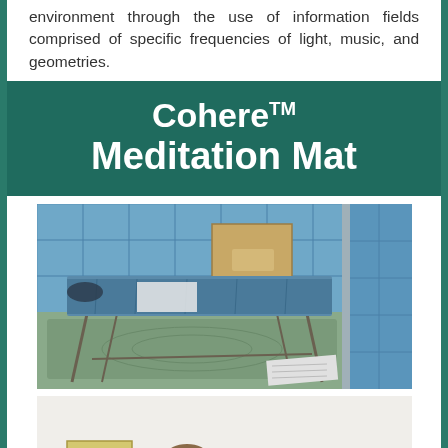environment through the use of information fields comprised of specific frequencies of light, music, and geometries.
Cohere™ Meditation Mat
[Figure (photo): Photo of a meditation mat setup in a room with blue acoustic foam panels on the walls, a massage/cot-style table covered in blue fabric, a cardboard box on a stand in the background, and papers on the floor beside the table.]
[Figure (photo): Photo of a person lying down on a mat on the floor in a white room, with a yellow/cream colored cube or box beside them.]